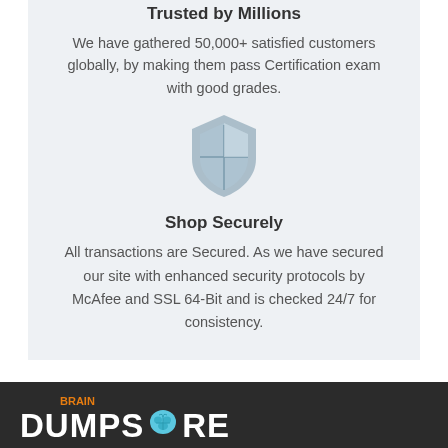Trusted by Millions
We have gathered 50,000+ satisfied customers globally, by making them pass Certification exam with good grades.
[Figure (illustration): Shield security icon in gray/blue tones]
Shop Securely
All transactions are Secured. As we have secured our site with enhanced security protocols by McAfee and SSL 64-Bit and is checked 24/7 for consistency.
[Figure (logo): BrainDumpsStore logo — Brain in orange, Dumps Store in white bold text on dark background with brain icon]
BrainDumpsStore is reliable in providing practice exam dumps for the various certification exam dumps. Our preparation material have been designed and verified by the experts after an indepth analysis of vendor suggested preparation syllabus. We ensure your 100% success in Certification exam with our study material, or if you fail in the exam